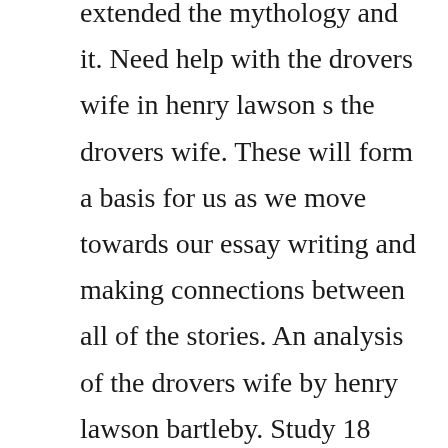extended the mythology and it. Need help with the drovers wife in henry lawson s the drovers wife. These will form a basis for us as we move towards our essay writing and making connections between all of the stories. An analysis of the drovers wife by henry lawson bartleby. Study 18 terms henry lawsonthe drovers wife flashcards. The drovers wife creates a vivid picture of an independent and isolated mothers hardship of taking care and protecting her family. The drovers wife illustrates her resourcefulness and her ability to work hard despite her